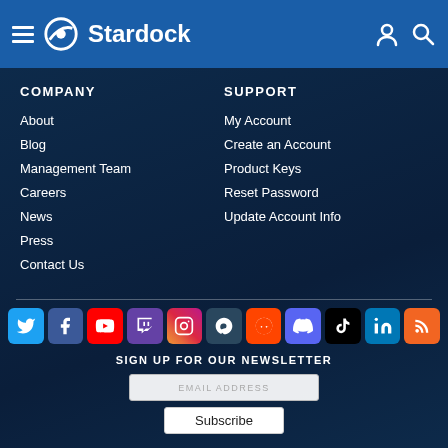Stardock
COMPANY
About
Blog
Management Team
Careers
News
Press
Contact Us
SUPPORT
My Account
Create an Account
Product Keys
Reset Password
Update Account Info
[Figure (infographic): Row of social media icons: Twitter (blue), Facebook (dark blue), YouTube (red), Twitch (purple), Instagram (pink/purple), Steam (dark), Reddit (orange), Discord (indigo), TikTok (black), LinkedIn (blue), RSS (orange)]
SIGN UP FOR OUR NEWSLETTER
EMAIL ADDRESS
Subscribe